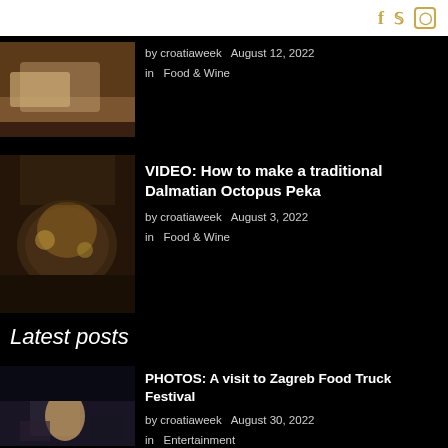social icons: facebook, twitter, instagram
by croatiaweek   August 12, 2022
in   Food & Wine
VIDEO: How to make a traditional Dalmatian Octopus Peka
by croatiaweek   August 3, 2022
in   Food & Wine
Latest posts
PHOTOS: A visit to Zagreb Food Truck Festival
by croatiaweek   August 30, 2022
in   Entertainment
Croatia remembers firefighters on Kornat island tragedy anniversary
by croatiaweek   August 30, 2022